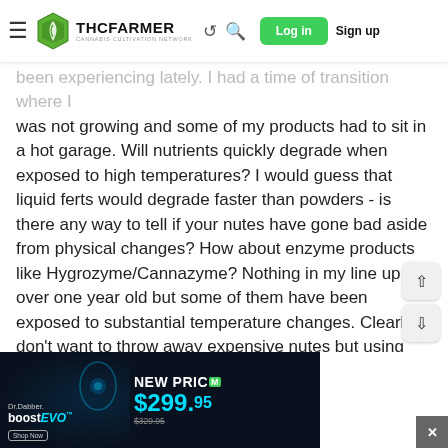THC FARMER - CANNABIS CULTIVATION NETWORK | Log in | Sign up
been experiencing lately. I had a time of transition where I was not growing and some of my products had to sit in a hot garage. Will nutrients quickly degrade when exposed to high temperatures? I would guess that liquid ferts would degrade faster than powders - is there any way to tell if your nutes have gone bad aside from physical changes? How about enzyme products like Hygrozyme/Cannazyme? Nothing in my line up is over one year old but some of them have been exposed to substantial temperature changes. Clearly, I don't want to throw away expensive nutes but using ineffective or counter productive products could be far more expensive in the long run. Thanks in advance.
[Figure (screenshot): Advertisement banner for Dr. Dabber boost EVO with text NEW PRICE $299.95 (was $329.95). Dark background with glowing device image.]